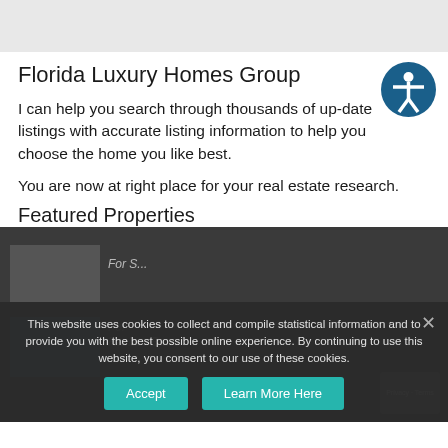Florida Luxury Homes Group
I can help you search through thousands of up-date listings with accurate listing information to help you choose the home you like best.
You are now at right place for your real estate research.
Featured Properties
[Figure (screenshot): Featured property listings area showing two property thumbnail images with text, partially visible under cookie consent overlay]
This website uses cookies to collect and compile statistical information and to provide you with the best possible online experience. By continuing to use this website, you consent to our use of these cookies.
Accept   Learn More Here